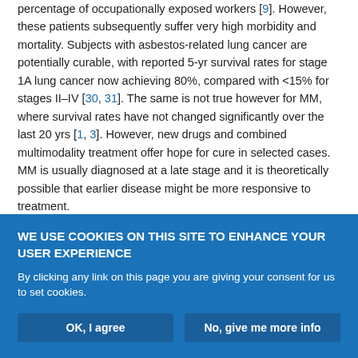percentage of occupationally exposed workers [9]. However, these patients subsequently suffer very high morbidity and mortality. Subjects with asbestos-related lung cancer are potentially curable, with reported 5-yr survival rates for stage 1A lung cancer now achieving 80%, compared with <15% for stages II–IV [30, 31]. The same is not true however for MM, where survival rates have not changed significantly over the last 20 yrs [1, 3]. However, new drugs and combined multimodality treatment offer hope for cure in selected cases. MM is usually diagnosed at a late stage and it is theoretically possible that earlier disease might be more responsive to treatment.
WE USE COOKIES ON THIS SITE TO ENHANCE YOUR USER EXPERIENCE
By clicking any link on this page you are giving your consent for us to set cookies.